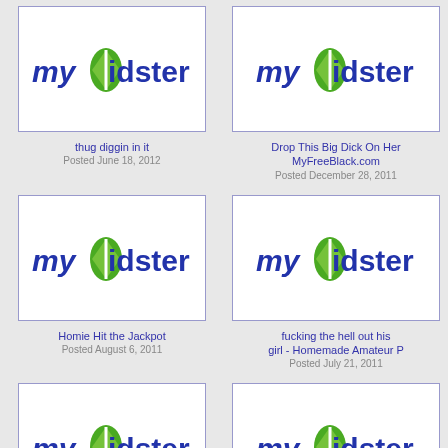[Figure (screenshot): myVidster logo placeholder thumbnail - top left]
thug diggin in it
Posted June 18, 2012
[Figure (screenshot): myVidster logo placeholder thumbnail - top right]
Drop This Big Dick On Her MyFreeBlack.com
Posted December 28, 2011
[Figure (screenshot): myVidster logo placeholder thumbnail - middle left]
Homie Hit the Jackpot
Posted August 6, 2011
[Figure (screenshot): myVidster logo placeholder thumbnail - middle right]
fucking the hell out his girl - Homemade Amateur P
Posted July 21, 2011
[Figure (screenshot): myVidster logo placeholder thumbnail - bottom left]
[Figure (screenshot): myVidster logo placeholder thumbnail - bottom right]